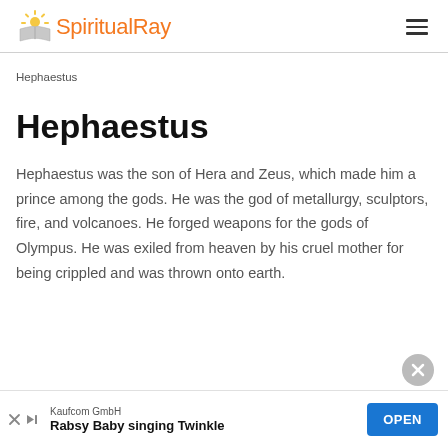SpiritualRay
Hephaestus
Hephaestus
Hephaestus was the son of Hera and Zeus, which made him a prince among the gods. He was the god of metallurgy, sculptors, fire, and volcanoes. He forged weapons for the gods of Olympus. He was exiled from heaven by his cruel mother for being crippled and was thrown onto earth.
Kaufcom GmbH Rabsy Baby singing Twinkle OPEN